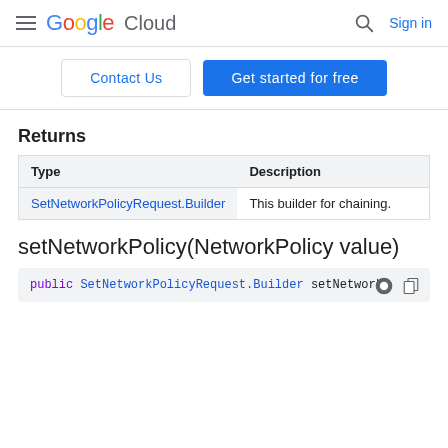Google Cloud | Contact Us | Get started for free | Sign in
Returns
| Type | Description |
| --- | --- |
| SetNetworkPolicyRequest.Builder | This builder for chaining. |
setNetworkPolicy(NetworkPolicy value)
public SetNetworkPolicyRequest.Builder setNetwork